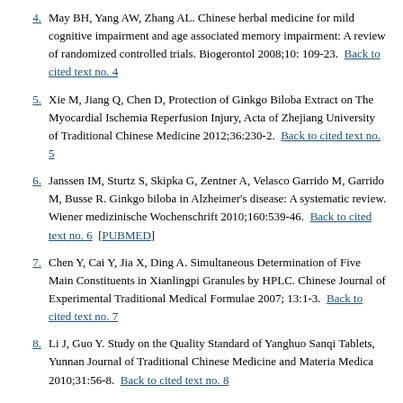4. May BH, Yang AW, Zhang AL. Chinese herbal medicine for mild cognitive impairment and age associated memory impairment: A review of randomized controlled trials. Biogerontol 2008;10: 109-23.  Back to cited text no. 4
5. Xie M, Jiang Q, Chen D, Protection of Ginkgo Biloba Extract on The Myocardial Ischemia Reperfusion Injury, Acta of Zhejiang University of Traditional Chinese Medicine 2012;36:230-2.  Back to cited text no. 5
6. Janssen IM, Sturtz S, Skipka G, Zentner A, Velasco Garrido M, Garrido M, Busse R. Ginkgo biloba in Alzheimer's disease: A systematic review. Wiener medizinische Wochenschrift 2010;160:539-46.  Back to cited text no. 6  [PUBMED]
7. Chen Y, Cai Y, Jia X, Ding A. Simultaneous Determination of Five Main Constituents in Xianlingpi Granules by HPLC. Chinese Journal of Experimental Traditional Medical Formulae 2007; 13:1-3.  Back to cited text no. 7
8. Li J, Guo Y. Study on the Quality Standard of Yanghuo Sanqi Tablets, Yunnan Journal of Traditional Chinese Medicine and Materia Medica 2010;31:56-8.  Back to cited text no. 8
9. Pu J; Shen L. Effects and comparison of promoting the blood flow of Chinese formulated products on endothelial function in chronic stable angina. Chinese Journal